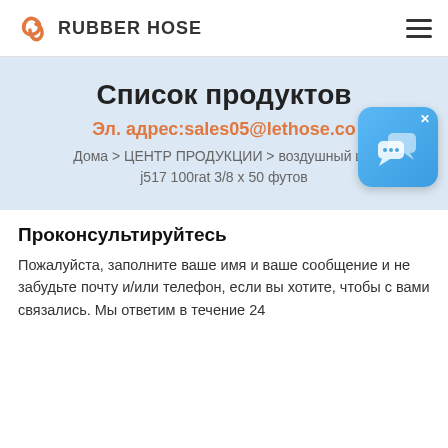RUBBER HOSE
Список продуктов
Эл. адрес:sales05@lethose.co
Дома > ЦЕНТР ПРОДУКЦИИ > воздушный шл j517 100rat 3/8 x 50 футов
[Figure (illustration): Chat widget icon - blue rounded square with speech bubble icon and X close button]
Проконсультируйтесь
Пожалуйста, заполните ваше имя и ваше сообщение и не забудьте почту и/или телефон, если вы хотите, чтобы с вами связались. Мы ответим в течение 24